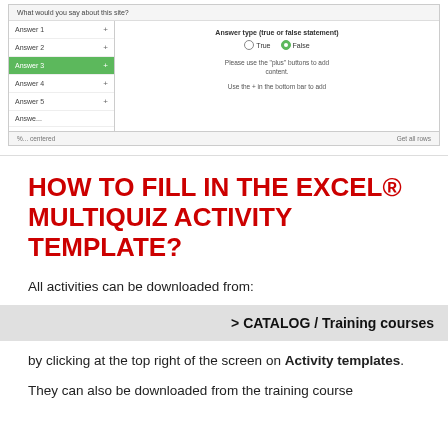[Figure (screenshot): UI screenshot showing a quiz editor with answer rows (Answer 1 through Answer 6), with Answer 3 highlighted in green. Right panel shows 'Answer type (true or false statement)' with True/False radio buttons (False selected), and hint text about using plus buttons and bottom bar.]
HOW TO FILL IN THE EXCEL® MULTIQUIZ ACTIVITY TEMPLATE?
All activities can be downloaded from:
> CATALOG / Training courses
by clicking at the top right of the screen on Activity templates.
They can also be downloaded from the training course